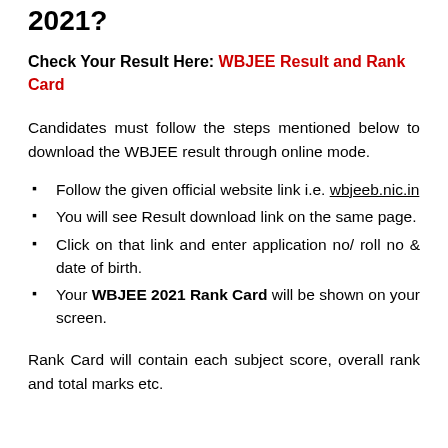2021?
Check Your Result Here: WBJEE Result and Rank Card
Candidates must follow the steps mentioned below to download the WBJEE result through online mode.
Follow the given official website link i.e. wbjeeb.nic.in
You will see Result download link on the same page.
Click on that link and enter application no/ roll no & date of birth.
Your WBJEE 2021 Rank Card will be shown on your screen.
Rank Card will contain each subject score, overall rank and total marks etc.